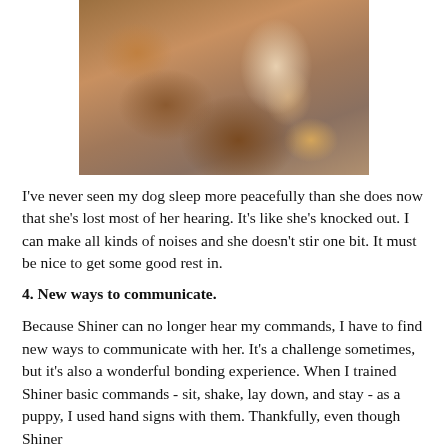[Figure (photo): A dog (brown and white, appears to be a pit bull mix) resting its head on a cushioned surface, sleeping peacefully. A pink toy is visible in the lower right corner.]
I've never seen my dog sleep more peacefully than she does now that she's lost most of her hearing. It's like she's knocked out. I can make all kinds of noises and she doesn't stir one bit. It must be nice to get some good rest in.
4. New ways to communicate.
Because Shiner can no longer hear my commands, I have to find new ways to communicate with her. It's a challenge sometimes, but it's also a wonderful bonding experience. When I trained Shiner basic commands - sit, shake, lay down, and stay - as a puppy, I used hand signs with them. Thankfully, even though Shiner